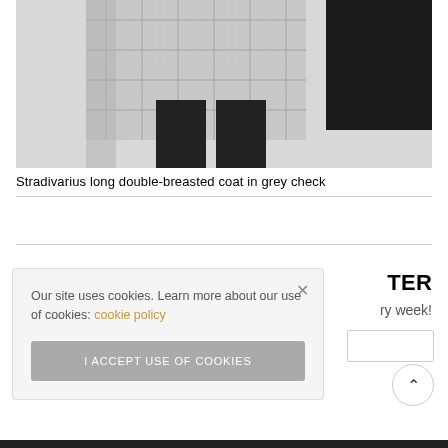[Figure (photo): Model wearing a grey check long double-breasted coat with black legs/boots visible. Black and white/grey tones. Cropped fashion photo showing lower half of outfit.]
Stradivarius long double-breasted coat in grey check
TER
ry week!
Our site uses cookies. Learn more about our use of cookies: cookie policy
I ACCEPT USE OF COOKIES